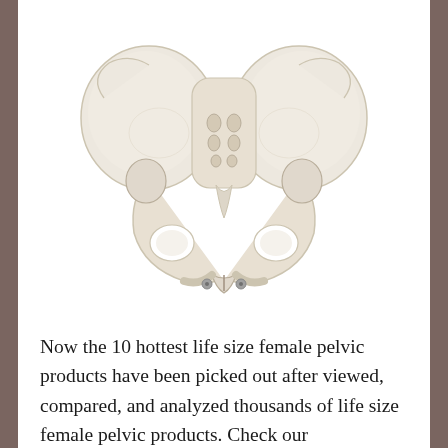[Figure (photo): A life-size female pelvic bone anatomical model, white/ivory colored, photographed from the front against a white background. Shows ilium, sacrum, pubic symphysis, and ischium.]
Now the 10 hottest life size female pelvic products have been picked out after viewed, compared, and analyzed thousands of life size female pelvic products. Check our